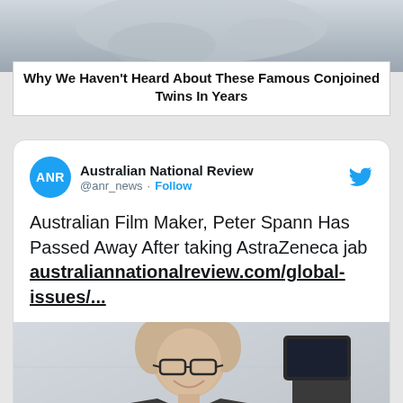[Figure (photo): Partial photo of a cat or animal at top of page, used as thumbnail background]
Why We Haven't Heard About These Famous Conjoined Twins In Years
[Figure (screenshot): Twitter/X post from Australian National Review (@anr_news) with text: Australian Film Maker, Peter Spann Has Passed Away After taking AstraZeneca jab australiannationalreview.com/global-issues/... with photo of a man smiling with camera equipment]
Australian National Review
@anr_news · Follow
Australian Film Maker, Peter Spann Has Passed Away After taking AstraZeneca jab australiannationalreview.com/global-issues/...
[Figure (photo): Photo of a middle-aged man with glasses and grey-blonde hair, wearing a black jacket over blue shirt, smiling, with professional camera equipment visible on the right]